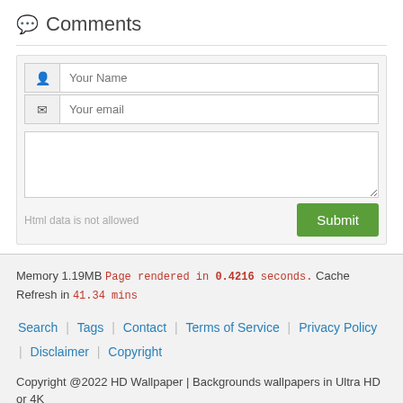Comments
[Figure (screenshot): Comment submission form with name field, email field, text area, 'Html data is not allowed' notice, and a green Submit button]
Memory 1.19MB Page rendered in 0.4216 seconds. Cache Refresh in 41.34 mins
Search | Tags | Contact | Terms of Service | Privacy Policy | Disclaimer | Copyright
Copyright @2022 HD Wallpaper | Backgrounds wallpapers in Ultra HD or 4K